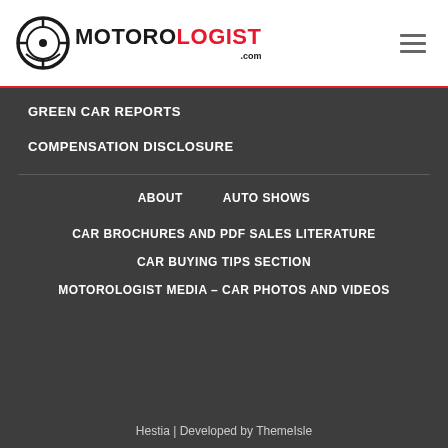[Figure (logo): Motorologist.com logo with gear/target icon and bold text MOTOROLOGIST in black and red, with .com suffix]
GREEN CAR REPORTS
COMPENSATION DISCLOSURE
ABOUT
AUTO SHOWS
CAR BROCHURES AND PDF SALES LITERATURE
CAR BUYING TIPS SECTION
MOTOROLOGIST MEDIA – CAR PHOTOS AND VIDEOS
Hestia | Developed by ThemeIsle